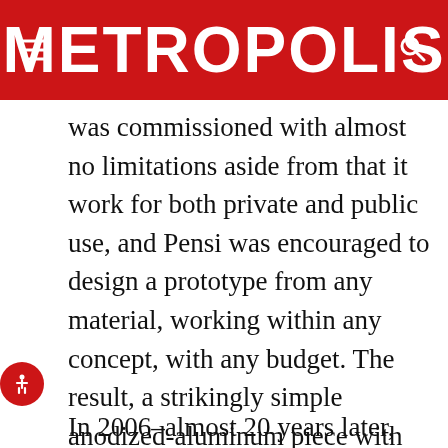METROPOLIS
was commissioned with almost no limitations aside from that it work for both private and public use, and Pensi was encouraged to design a prototype from any material, working within any concept, with any budget. The result, a strikingly simple anodized-aluminum piece with high arms and a narrow back, became a marker of Pensi's almost Loosian attitude toward ornament.
In 2006–almost 20 years later, after time